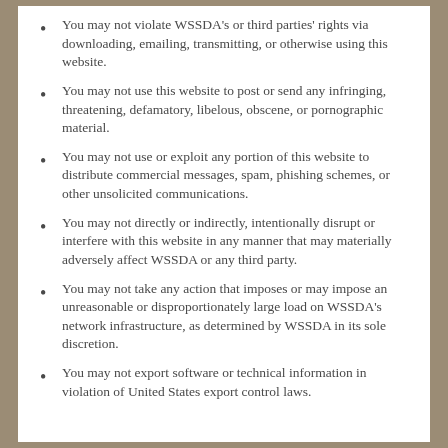You may not violate WSSDA's or third parties' rights via downloading, emailing, transmitting, or otherwise using this website.
You may not use this website to post or send any infringing, threatening, defamatory, libelous, obscene, or pornographic material.
You may not use or exploit any portion of this website to distribute commercial messages, spam, phishing schemes, or other unsolicited communications.
You may not directly or indirectly, intentionally disrupt or interfere with this website in any manner that may materially adversely affect WSSDA or any third party.
You may not take any action that imposes or may impose an unreasonable or disproportionately large load on WSSDA's network infrastructure, as determined by WSSDA in its sole discretion.
You may not export software or technical information in violation of United States export control laws.